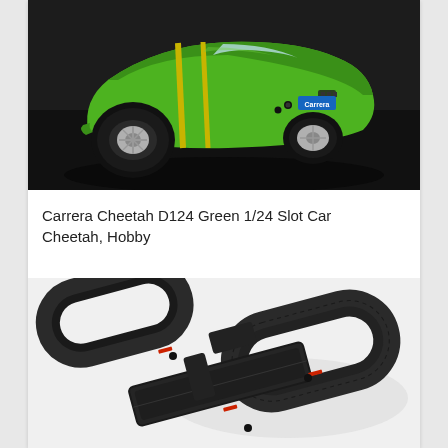[Figure (photo): Green Carrera Cheetah D124 1/24 scale slot car model, rear three-quarter view, on dark background]
Carrera Cheetah D124 Green 1/24 Slot Car Cheetah, Hobby
[Figure (photo): Slot car racing track set laid out flat, showing figure-eight style layout with multiple lanes, crossover sections, and curved ends]